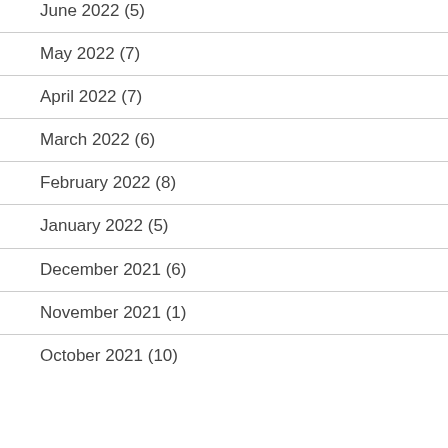June 2022 (5)
May 2022 (7)
April 2022 (7)
March 2022 (6)
February 2022 (8)
January 2022 (5)
December 2021 (6)
November 2021 (1)
October 2021 (10)